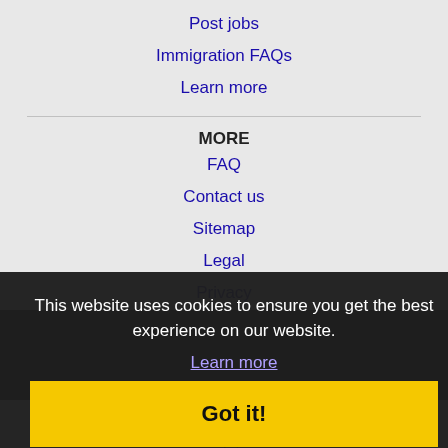Post jobs
Immigration FAQs
Learn more
MORE
FAQ
Contact us
Sitemap
Legal
Privacy
This website uses cookies to ensure you get the best experience on our website.
Learn more
Got it!
BY CITIES
Bowling Green, KY Jobs
Chattanooga, TN Jobs
Clarksville, TN Jobs
Cleveland, TN Jobs